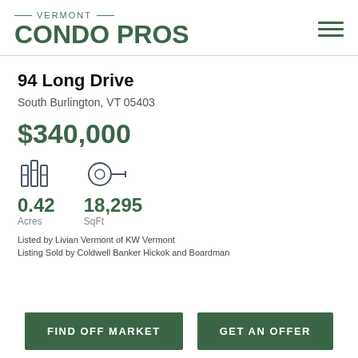VERMONT CONDO PROS
94 Long Drive
South Burlington, VT 05403
$340,000
0.42 Acres
18,295 SqFt
Listed by Livian Vermont of KW Vermont
Listing Sold by Coldwell Banker Hickok and Boardman
FIND OFF MARKET
GET AN OFFER